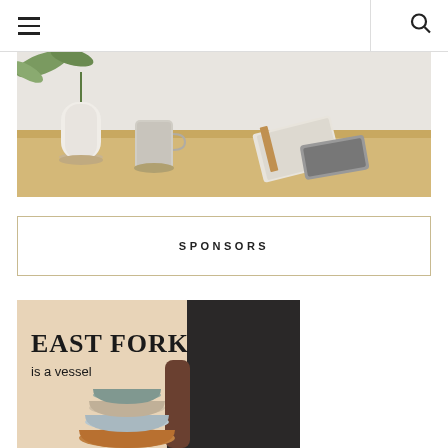Navigation header with hamburger menu and search icon
[Figure (photo): Desk scene with white ceramic vase with plant, gray ceramic mug, leather notebook, and smartphone on a light wood desk]
SPONSORS
[Figure (photo): East Fork pottery brand advertisement showing 'EAST FORK is a vessel' text with a man holding stacked ceramic bowls on a beige background]